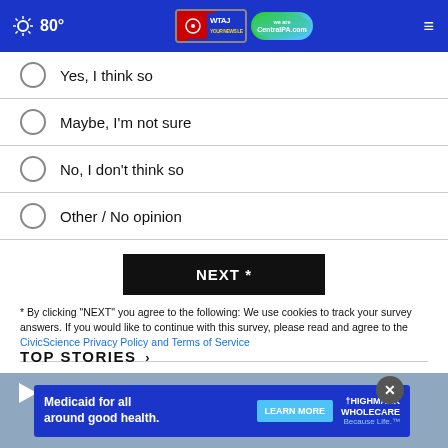80° WTAJ CentralPA.com
Yes, I think so
Maybe, I'm not sure
No, I don't think so
Other / No opinion
NEXT *
* By clicking "NEXT" you agree to the following: We use cookies to track your survey answers. If you would like to continue with this survey, please read and agree to the CivicScience Privacy Policy and Terms of Service
TOP STORIES ›
[Figure (photo): News story image with video play button and Highmark Wholecare advertisement overlay reading 'Medicaid for all around good health. LEARN MORE. HIGHMARK WHOLECARE Because Life.']